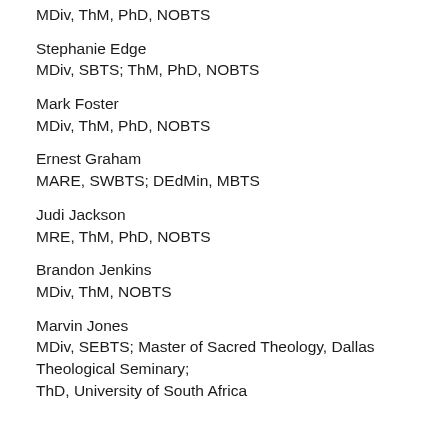MDiv, ThM, PhD, NOBTS
Stephanie Edge
MDiv, SBTS; ThM, PhD, NOBTS
Mark Foster
MDiv, ThM, PhD, NOBTS
Ernest Graham
MARE, SWBTS; DEdMin, MBTS
Judi Jackson
MRE, ThM, PhD, NOBTS
Brandon Jenkins
MDiv, ThM, NOBTS
Marvin Jones
MDiv, SEBTS; Master of Sacred Theology, Dallas Theological Seminary;
ThD, University of South Africa